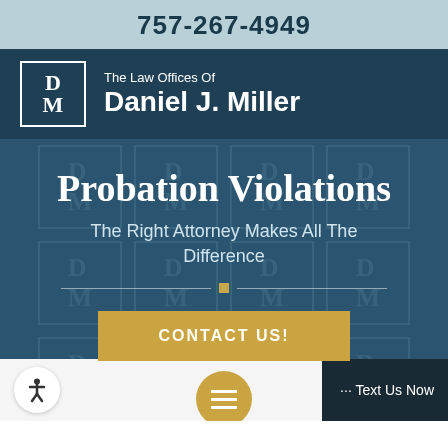757-267-4949
[Figure (logo): The Law Offices Of Daniel J. Miller logo with DM monogram in a square border]
Probation Violations
The Right Attorney Makes All The Difference
CONTACT US!
··· Text Us Now